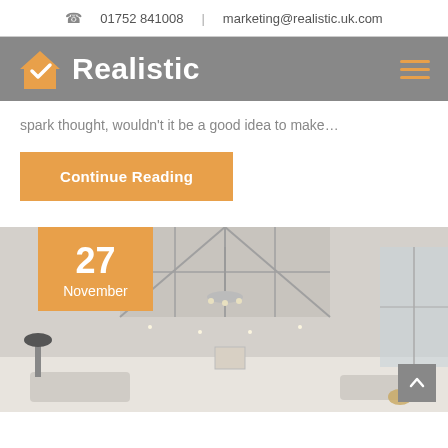01752 841008  |  marketing@realistic.uk.com
[Figure (logo): Realistic company logo with orange house checkmark icon and white 'Realistic' text on grey background, with hamburger menu icon]
spark thought, wouldn't it be a good idea to make…
Continue Reading
[Figure (photo): Interior photo of a conservatory/orangery with large skylights, chandelier, bi-fold doors, and elegant furnishings. Orange date badge overlay showing '27 November'.]